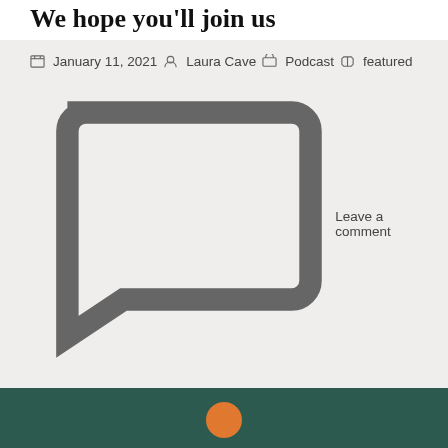We hope you'll join us
Future guests include former Segment President at Humana, Beth Bierbower, former President of Group Protection Business at Lincoln Financial, Dick Mucci, and Dave Chase of Health Rosetta.
You can follow Better Benefits on Apple Podcasts, Google Podcasts, and Spotify. If you liked the episode, give us a rating on your favorite podcast platform and don't forget to subscribe so you don't miss an episode! Stay tuned!
January 11, 2021  Laura Cave  Podcast  featured  Leave a comment